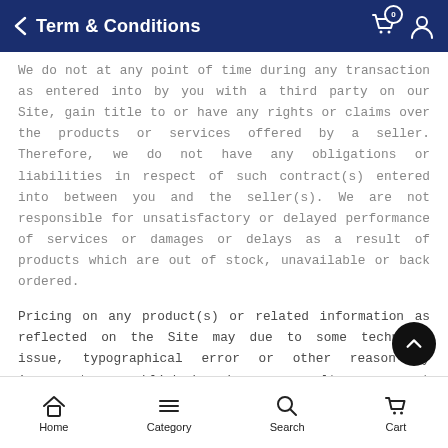Term & Conditions
We do not at any point of time during any transaction as entered into by you with a third party on our Site, gain title to or have any rights or claims over the products or services offered by a seller. Therefore, we do not have any obligations or liabilities in respect of such contract(s) entered into between you and the seller(s). We are not responsible for unsatisfactory or delayed performance of services or damages or delays as a result of products which are out of stock, unavailable or back ordered.
Pricing on any product(s) or related information as reflected on the Site may due to some technical issue, typographical error or other reason by incorrect as published and as a result you accept that in such conditions the seller or the Site may cancel your order without prior notice or any liability arising as a result. Any
Home  Category  Search  Cart